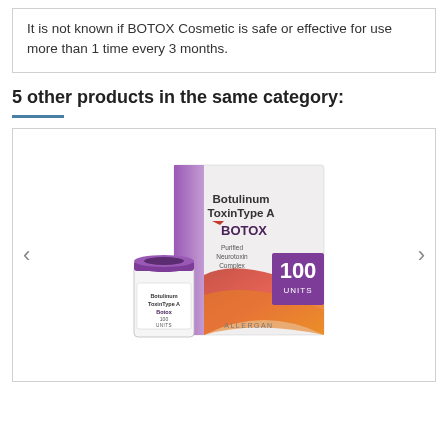It is not known if BOTOX Cosmetic is safe or effective for use more than 1 time every 3 months.
5 other products in the same category:
[Figure (photo): Product photo of Botox (Botulinum Toxin Type A) 100 Units box and vial with purple cap, showing Allergan branding, purple and gradient red-orange design elements on the packaging.]